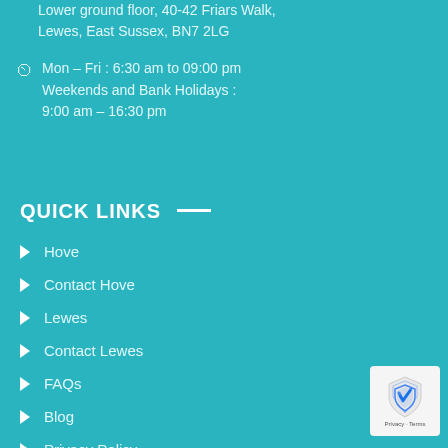Lower ground floor, 40-42 Friars Walk, Lewes, East Sussex, BN7 2LG
Mon – Fri : 6:30 am to 09:00 pm
Weekends and Bank Holidays :
9:00 am – 16:30 pm
QUICK LINKS
Hove
Contact Hove
Lewes
Contact Lewes
FAQs
Blog
Privacy Policy
[Figure (logo): reCAPTCHA badge with shield logo and Privacy - Terms text]